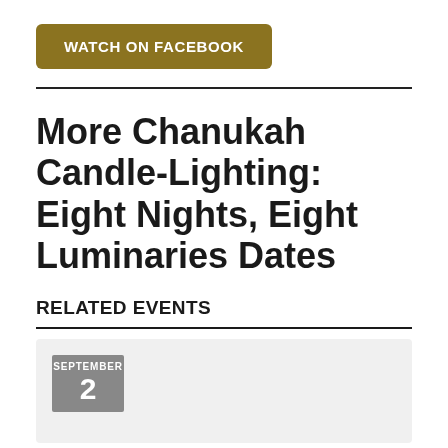[Figure (other): Gold/dark-yellow rounded button labeled WATCH ON FACEBOOK in white bold text]
More Chanukah Candle-Lighting: Eight Nights, Eight Luminaries Dates
RELATED EVENTS
[Figure (other): Event card with gray date badge showing SEPTEMBER 2]